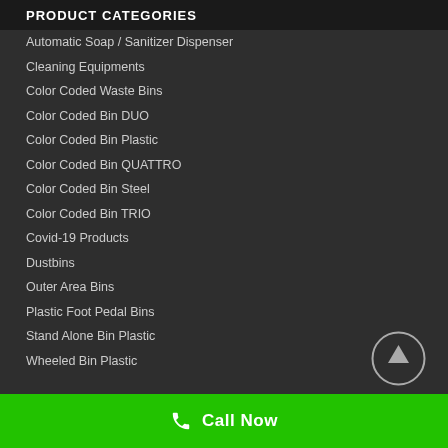PRODUCT CATEGORIES
Automatic Soap / Sanitizer Dispenser
Cleaning Equipments
Color Coded Waste Bins
Color Coded Bin DUO
Color Coded Bin Plastic
Color Coded Bin QUATTRO
Color Coded Bin Steel
Color Coded Bin TRIO
Covid-19 Products
Dustbins
Outer Area Bins
Plastic Foot Pedal Bins
Stand Alone Bin Plastic
Wheeled Bin Plastic
[Figure (illustration): Scroll-to-top circular button with upward arrow icon]
Call Now